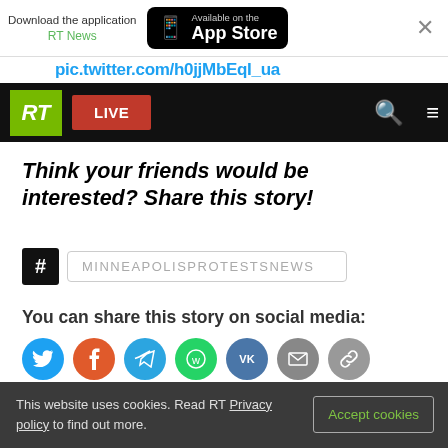Download the application RT News | Available on the App Store
[Figure (screenshot): RT website navigation bar with RT logo (green), LIVE button (red), search icon, and menu icon on black background]
pic.twitter.com/h0jjMbEqI_ua
Think your friends would be interested? Share this story!
# MINNEAPOLISPROTESTSNEWS
You can share this story on social media:
This website uses cookies. Read RT Privacy policy to find out more. Accept cookies